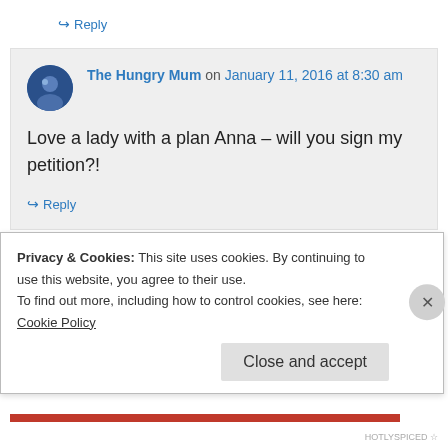↪ Reply
The Hungry Mum on January 11, 2016 at 8:30 am
Love a lady with a plan Anna – will you sign my petition?!
↪ Reply
hotlyspiced on January 9, 2016 at 7:20 am
Privacy & Cookies: This site uses cookies. By continuing to use this website, you agree to their use.
To find out more, including how to control cookies, see here: Cookie Policy
Close and accept